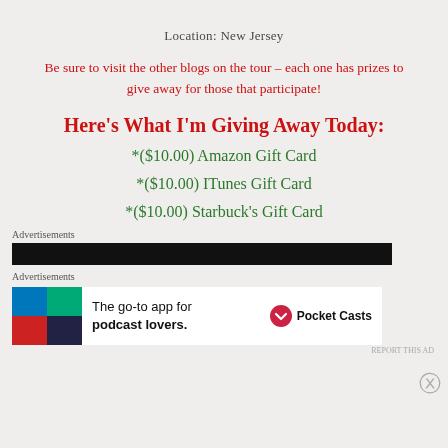Location: New Jersey
Be sure to visit the other blogs on the tour – each one has prizes to give away for those that participate!
Here's What I'm Giving Away Today:
*($10.00) Amazon Gift Card
*($10.00) ITunes Gift Card
*($10.00) Starbuck's Gift Card
Advertisements
[Figure (screenshot): Dark advertisement bar]
Advertisements
[Figure (screenshot): Pocket Casts advertisement banner: The go-to app for podcast lovers.]